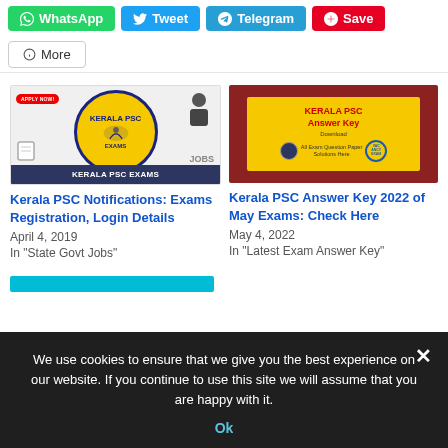[Figure (infographic): Social share buttons: WhatsApp (green), Tweet (blue), Telegram (blue), Save (red), More (outline)]
[Figure (infographic): Kerala PSC Exams image with yellow circle logo, dark banner text 'KERALA PSC EXAMS', 'APPLY NOW' badge, 'JOBS' text]
Kerala PSC Notifications: Exams Registration, Login Details
April 4, 2019
In "State Govt Jobs"
[Figure (infographic): Kerala PSC Answer Key image with red background, yellow card showing 'KERALA PSC Answer Key', 'Download All Exam Question Paper Solutions Here']
Kerala PSC Answer Key 2022 of May Exams: Check Here
May 4, 2022
In "Latest Exam Answer Key"
We use cookies to ensure that we give you the best experience on our website. If you continue to use this site we will assume that you are happy with it.
Ok